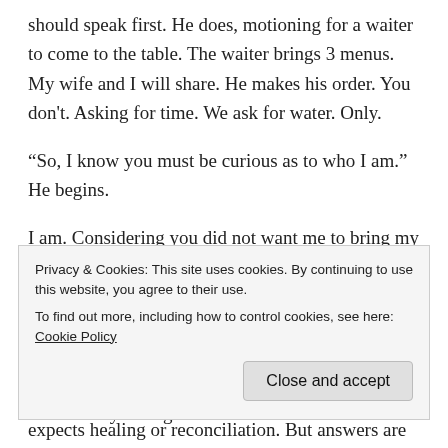should speak first. He does, motioning for a waiter to come to the table. The waiter brings 3 menus. My wife and I will share. He makes his order. You don't. Asking for time. We ask for water. Only.
“So, I know you must be curious as to who I am.” He begins.
I am. Considering you did not want me to bring my wife Ma. I would like to know why a stranger is seated at this table. In what should be a private conversation. He explains. You two are married. You just celebrated 15 years together. He shows me his ring proudly. I do my best not to vomit. You left me 15 years ago.
Privacy & Cookies: This site uses cookies. By continuing to use this website, you agree to their use. To find out more, including how to control cookies, see here: Cookie Policy
expects healing or reconciliation. But answers are